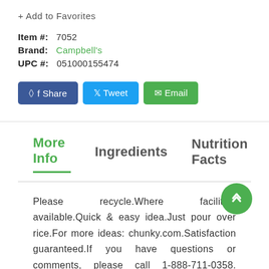+ Add to Favorites
Item #:   7052
Brand:   Campbell's
UPC #:   051000155474
Share  Tweet  Email
More Info   Ingredients   Nutrition Facts
Please recycle.Where facilities available.Quick & easy idea.Just pour over rice.For more ideas: chunky.com.Satisfaction guaranteed.If you have questions or comments, please call 1-888-711-0358. Please have code and date information from container.Visit our website at chunky.com.